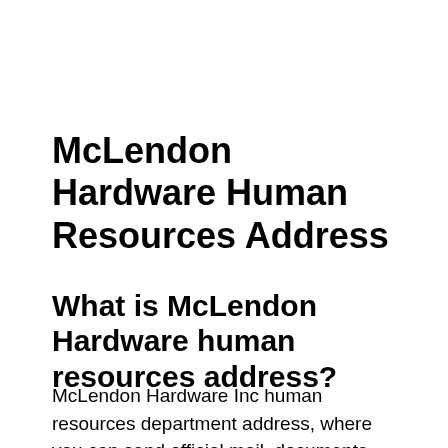McLendon Hardware Human Resources Address
What is McLendon Hardware human resources address?
McLendon Hardware Inc human resources department address, where you can send official mail, documents, and forms with correspondence to McLendon Hardware human